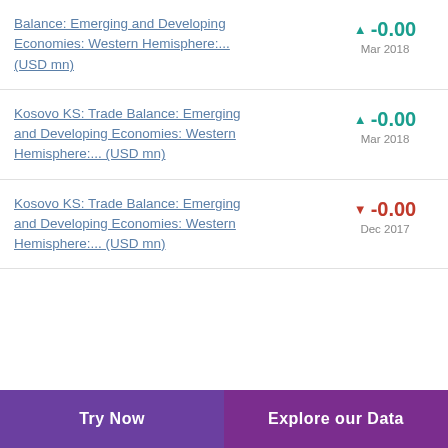Balance: Emerging and Developing Economies: Western Hemisphere:... (USD mn)
Kosovo KS: Trade Balance: Emerging and Developing Economies: Western Hemisphere:... (USD mn)
Kosovo KS: Trade Balance: Emerging and Developing Economies: Western Hemisphere:... (USD mn)
Try Now | Explore our Data